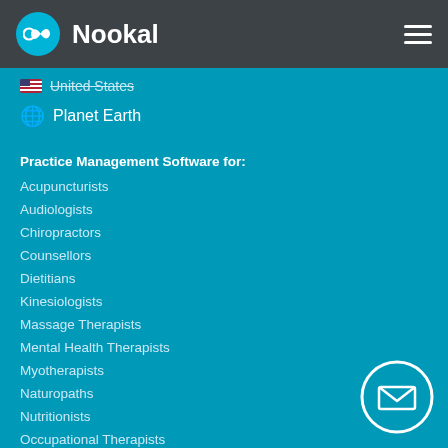Nookal
United States
Planet Earth
Practice Management Software for:
Acupuncturists
Audiologists
Chiropractors
Counsellors
Dietitians
Kinesiologists
Massage Therapists
Mental Health Therapists
Myotherapists
Naturopaths
Nutritionists
Occupational Therapists
Osteopaths
[Figure (other): Email/contact button icon (envelope in circle)]